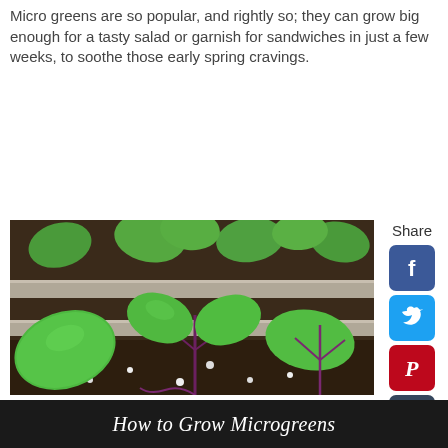Micro greens are so popular, and rightly so; they can grow big enough for a tasty salad or garnish for sandwiches in just a few weeks, to soothe those early spring cravings.
[Figure (photo): Close-up photo of microgreens growing in a planter tray with soil, showing green and purple-stemmed seedlings with round cotyledon leaves.]
[Figure (infographic): Social media share sidebar with Share label and buttons for Facebook, Twitter, Pinterest, Tumblr, Reddit, Messenger, heart/like, and count showing 1.]
How to Grow Microgreens